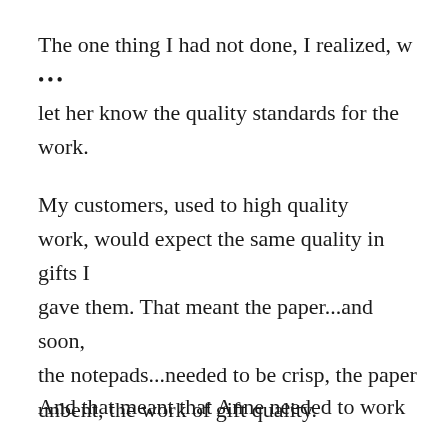The one thing I had not done, I realized, w ••• let her know the quality standards for the work.
My customers, used to high quality work, would expect the same quality in gifts I gave them. That meant the paper...and soon, the notepads...needed to be crisp, the paper unbent, the work of gift quality.
And that meant that Anne needed to work